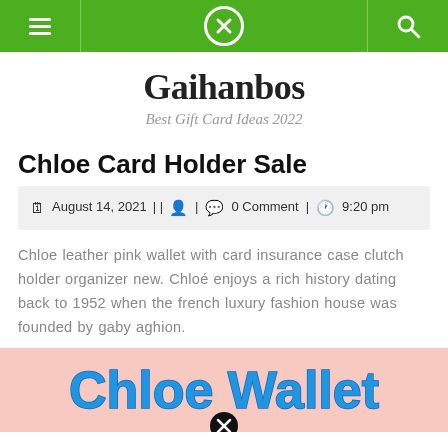Gaihanbos navigation bar with hamburger menu, close icon, and search icon
Gaihanbos
Best Gift Card Ideas 2022
Chloe Card Holder Sale
August 14, 2021 | | 0 Comment | 9:20 pm
Chloe leather pink wallet with card insurance case clutch holder organizer new. Chloé enjoys a rich history dating back to 1952 when the french luxury fashion house was founded by gaby aghion.
[Figure (photo): Image showing 'Chloe Wallet' text in blue on a pink background with a close/X icon at the bottom center]